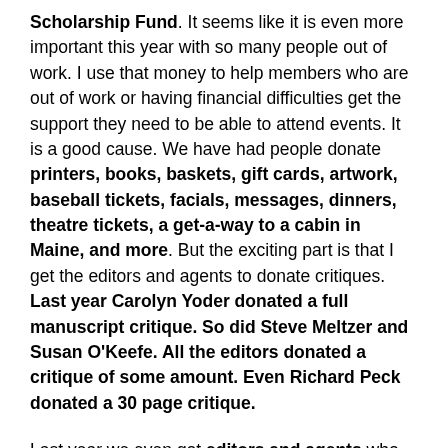Scholarship Fund.  It seems like it is even more important this year with so many people out of work.  I use that money to help members who are out of work or having financial difficulties get the support they need to be able to attend events.  It is a good cause.  We have had people donate printers, books, baskets, gift cards, artwork, baseball tickets, facials, messages, dinners, theatre tickets, a get-a-way to a cabin in Maine, and more.  But the exciting part is that I get the editors and agents to donate critiques.  Last year Carolyn Yoder donated a full manuscript critique.  So did Steve Meltzer and Susan O'Keefe.  All the editors donated a critique of some amount.  Even Richard Peck donated a 30 page critique.
Last year we even got editors and agents who attend the conference to donate and evening at dinner with them.